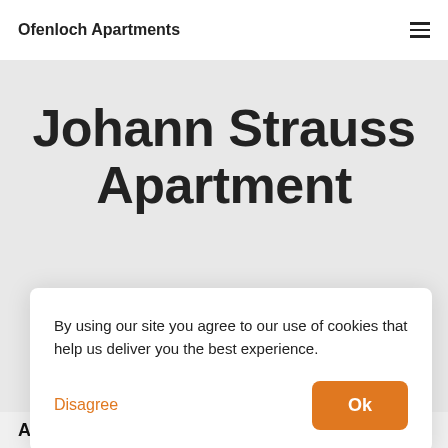Ofenloch Apartments
Johann Strauss Apartment
For up to 6 Persons
By using our site you agree to our use of cookies that help us deliver you the best experience.
Disagree
Ok
About the Accommodation